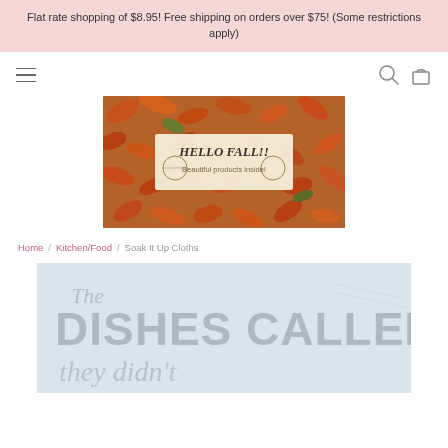Flat rate shopping of $8.95! Free shipping on orders over $75! (Some restrictions apply)
[Figure (illustration): Hamburger menu icon, search icon, and bag/cart icon in navigation bar]
[Figure (photo): HELLO FALL!! Beautiful products inside! — autumn leaves background with centered cream card overlay]
Home / Kitchen/Food / Soak It Up Cloths
[Figure (photo): Partial product image showing a cloth with text 'The DISHES CALLED, they...' on light blue background]